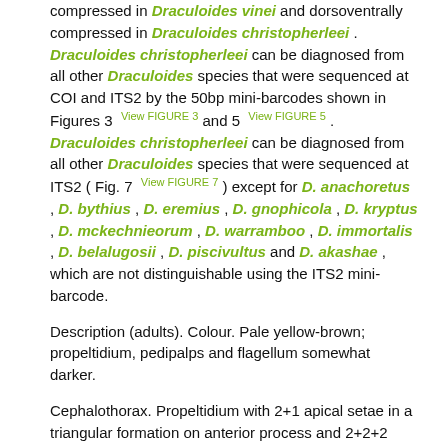compressed in Draculoides vinei and dorsoventrally compressed in Draculoides christopherleei . Draculoides christopherleei can be diagnosed from all other Draculoides species that were sequenced at COI and ITS2 by the 50bp mini-barcodes shown in Figures 3  View FIGURE 3 and 5  View FIGURE 5  . Draculoides christopherleei can be diagnosed from all other Draculoides species that were sequenced at ITS2 ( Fig. 7  View FIGURE 7 ) except for D. anachoretus , D. bythius , D. eremius , D. gnophicola , D. kryptus , D. mckechnieorum , D. warramboo , D. immortalis , D. belalugosii , D. piscivultus and D. akashae , which are not distinguishable using the ITS2 mini-barcode.
Description (adults). Colour. Pale yellow-brown; propeltidium, pedipalps and flagellum somewhat darker.
Cephalothorax. Propeltidium with 2+1 apical setae in a triangular formation on anterior process and 2+2+2 setae; eye spots absent. Mesoneltidia separated